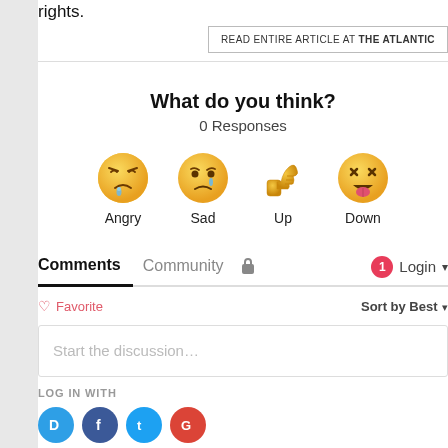rights.
READ ENTIRE ARTICLE AT THE ATLANTIC
What do you think?
0 Responses
[Figure (illustration): Four emoji reaction buttons: Angry (crying angry face), Sad (sad face with tear), Up (thumbs up), Down (tongue-out face)]
Comments  Community  [lock icon]  [notification: 1]  Login ▾
♡ Favorite   Sort by Best ▾
Start the discussion…
LOG IN WITH